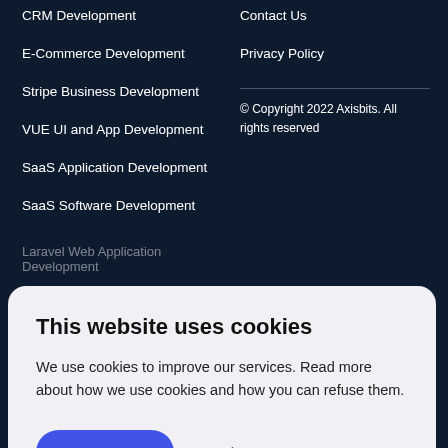CRM Development
E-Commerce Development
Stripe Business Development
VUE UI and App Development
SaaS Application Development
SaaS Software Development
Laravel Web Application Development
Contact Us
Privacy Policy
© Copyright 2022 Axisbits. All rights reserved
This website uses cookies
We use cookies to improve our services. Read more about how we use cookies and how you can refuse them.
Accept
Settings